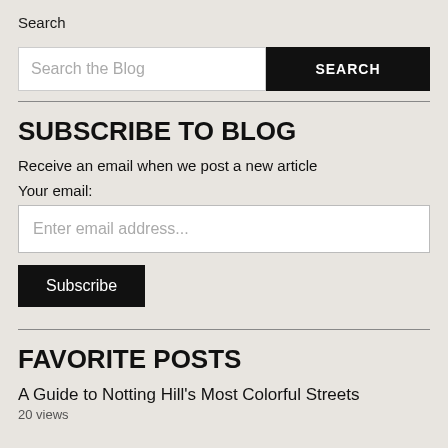Search
Search the Blog
SEARCH
SUBSCRIBE TO BLOG
Receive an email when we post a new article
Your email:
Enter email address...
Subscribe
FAVORITE POSTS
A Guide to Notting Hill's Most Colorful Streets
20 views